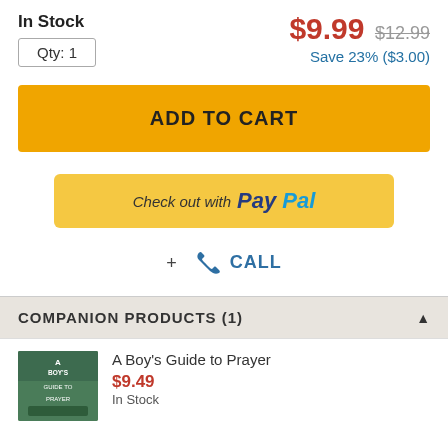In Stock
Qty: 1
$9.99 $12.99 Save 23% ($3.00)
ADD TO CART
[Figure (logo): PayPal checkout button with text 'Check out with PayPal']
+ CALL
COMPANION PRODUCTS (1)
A Boy's Guide to Prayer
$9.49
In Stock